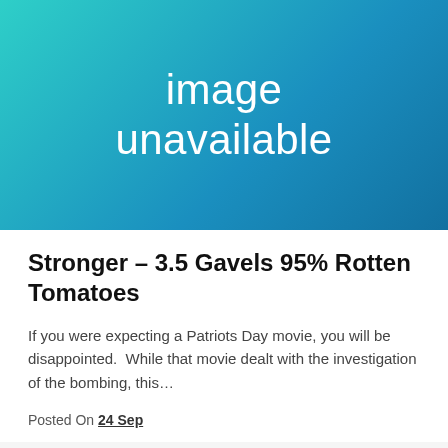[Figure (illustration): Teal to blue gradient background with white text reading 'image unavailable']
Stronger – 3.5 Gavels 95% Rotten Tomatoes
If you were expecting a Patriots Day movie, you will be disappointed.  While that movie dealt with the investigation of the bombing, this…
Posted On 24 Sep